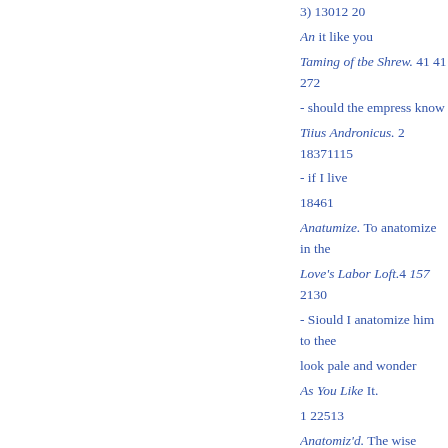3) 13012 20
An it like you
Taming of tbe Shrew. 41 41 272
- should the empress know
Tiius Andronicus. 2 18371115
- if I live
18461
Anatumize. To anatomize in the
Love's Labor Loft.4 157 2130
- Siould I anatomize him to thee
look pale and wonder
As You Like It.
1 22513
Anatomiz'd. The wise man's foll
fool
bid.
71 232/2/52
Anatomizide